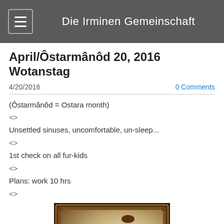Die Irminen Gemeinschaft
April/Ôstarmânôd 20, 2016 Wotanstag
4/20/2016	0 Comments
(Ôstarmânôd = Ostara month)
<>
Unsettled sinuses, uncomfortable, un-sleep...
<>
1st check on all fur-kids
<>
Plans: work 10 hrs
<>
[Figure (photo): An old framed portrait photograph showing two figures, likely from the early 20th century, in an ornate dark frame.]